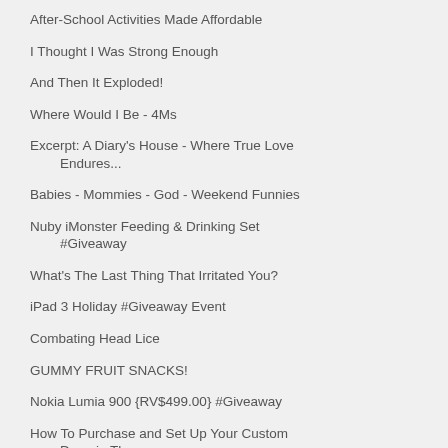After-School Activities Made Affordable
I Thought I Was Strong Enough
And Then It Exploded!
Where Would I Be - 4Ms
Excerpt: A Diary's House - Where True Love Endures...
Babies - Mommies - God - Weekend Funnies
Nuby iMonster Feeding & Drinking Set #Giveaway
What's The Last Thing That Irritated You?
iPad 3 Holiday #Giveaway Event
Combating Head Lice
GUMMY FRUIT SNACKS!
Nokia Lumia 900 {RV$499.00} #Giveaway
How To Purchase and Set Up Your Custom Domain Thro...